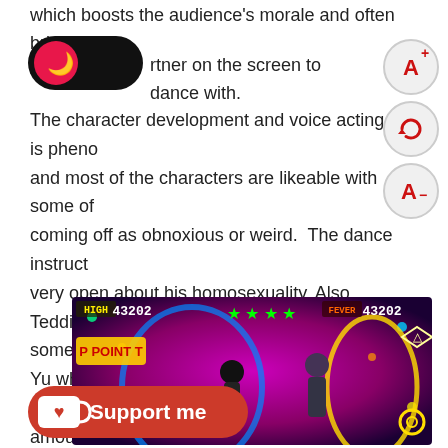which boosts the audience's morale and often brings a partner on the screen to dance with.
[Figure (other): Dark mode toggle button with pink circle and moon icon]
[Figure (other): Three UI buttons: A+ (font increase), refresh/reset circle, A- (font decrease), in red outlines on light grey circles]
The character development and voice acting is phenomenal and most of the characters are likeable with some of coming off as obnoxious or weird. The dance instructor is very open about his homosexuality. Also, Teddie makes some strange comments and offers to marry Yu which he brushes off right away. While there is a fair amount of dancing to do with the close to thirty songs available, most of my eight hour journey was spent reading the text in this visual novel style game.
[Figure (screenshot): Game screenshot showing a rhythm/dance game UI with score displays reading 43202, colorful characters dancing on screen, arcade-style visuals with neon lights]
[Figure (other): Support me button with Ko-fi style cup and heart icon on red rounded rectangle background]